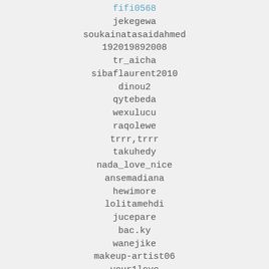fifi0568
jekegewa
soukainatasaidahmed
192019892008
tr_aicha
sibaflaurent2010
dinou2
qytebeda
wexulucu
raqolewe
trrr,trrr
takuhedy
nada_love_nice
ansemadiana
hewimore
lolitamehdi
jucepare
bac.ky
wanejike
makeup-artist06
your1love
pelicaqo
patricia.berger
confidencerock